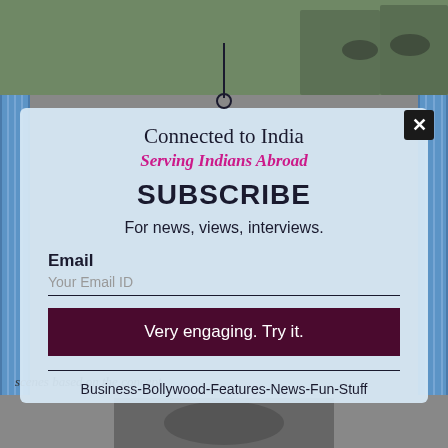[Figure (screenshot): Screenshot of a webpage with a subscription modal popup overlaying content. Background shows people wearing masks and a building with blue glass facade. Modal has 'Connected to India / Serving Indians Abroad' heading, SUBSCRIBE text, email input, and submit button.]
Connected to India
Serving Indians Abroad
SUBSCRIBE
For news, views, interviews.
Email
Your Email ID
Very engaging. Try it.
Business-Bollywood-Features-News-Fun-Stuff
scenes based on the concept.